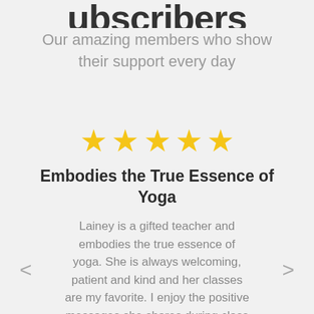Subscribers
Our amazing members who show their support every day
[Figure (illustration): Five gold star rating icons in a row]
Embodies the True Essence of Yoga
Lainey is a gifted teacher and embodies the true essence of yoga. She is always welcoming, patient and kind and her classes are my favorite. I enjoy the positive messages she shares during class as well as the